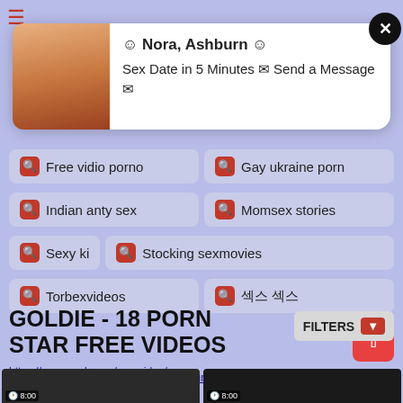≡ [site logo/header]
[Figure (screenshot): Popup notification card with profile photo of a blonde woman in a pink top, with text: ☺ Nora, Ashburn ☺ Sex Date in 5 Minutes ✉ Send a Message ✉, and a close (X) button]
🔍 Free vidio porno
🔍 Gay ukraine porn
🔍 Indian anty sex
🔍 Momsex stories
🔍 Sexy ki
🔍 Stocking sexmovies
🔍 Torbexvideos
🔍 섹스 섹스
GOLDIE - 18 PORN STAR FREE VIDEOS
https://www.yaeby.pro/pop-video/бесплатно смотреть   Mecum Porn   порно видео